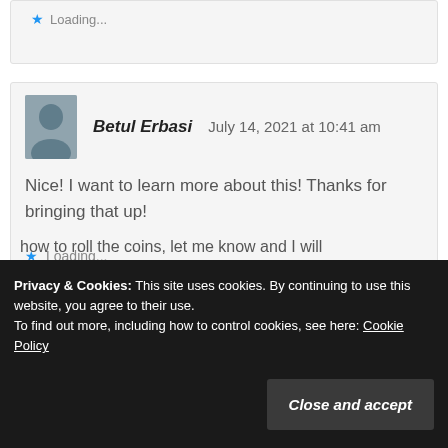Loading...
Betul Erbasi    July 14, 2021 at 10:41 am
Nice! I want to learn more about this! Thanks for bringing that up!
Loading...
Privacy & Cookies: This site uses cookies. By continuing to use this website, you agree to their use.
To find out more, including how to control cookies, see here: Cookie Policy
Close and accept
how to roll the coins, let me know and I will